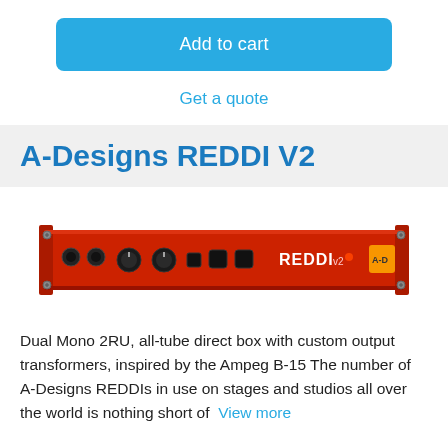Add to cart
Get a quote
A-Designs REDDI V2
[Figure (photo): Photo of the A-Designs REDDI V2, a red 2RU rack-mount audio direct box unit with knobs and connectors on the front panel, showing the REDDI v2 label.]
Dual Mono 2RU, all-tube direct box with custom output transformers, inspired by the Ampeg B-15 The number of A-Designs REDDIs in use on stages and studios all over the world is nothing short of ... View more